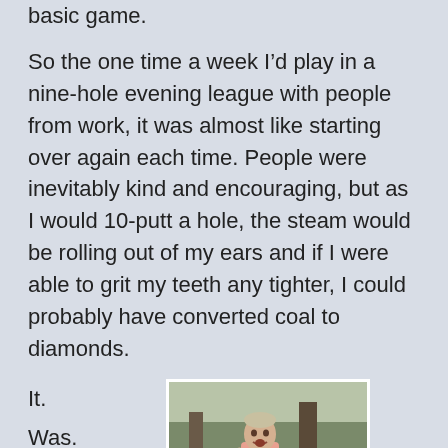basic game.
So the one time a week I’d play in a nine-hole evening league with people from work, it was almost like starting over again each time. People were inevitably kind and encouraging, but as I would 10-putt a hole, the steam would be rolling out of my ears and if I were able to grit my teeth any tighter, I could probably have converted coal to diamonds.
It.
Was.
Not.
[Figure (photo): A man in a pink shirt appearing frustrated or animated, outdoors with crowd in background, resembling a golf scene.]